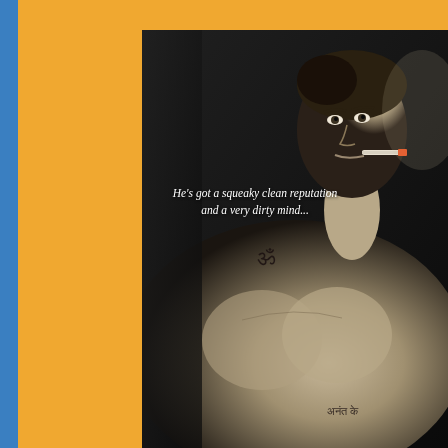[Figure (photo): Black and white photo of a muscular shirtless young man with short hair, holding a cigarette in his mouth, looking at the camera. He has tattoos including a Sanskrit Om symbol on his left shoulder and Hindi script on his lower chest/abdomen area. The background is dark/black. Overlaid italic text reads: He's got a squeaky clean reputation and a very dirty mind...]
He's got a squeaky clean reputation and a very dirty mind...